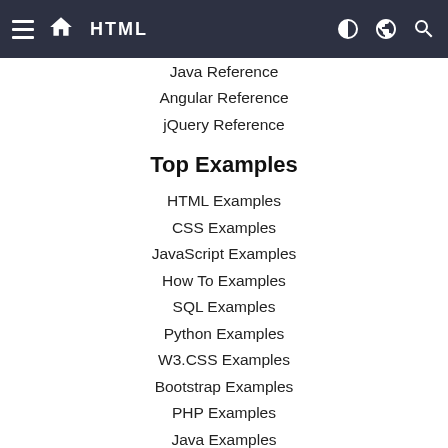HTML
Java Reference
Angular Reference
jQuery Reference
Top Examples
HTML Examples
CSS Examples
JavaScript Examples
How To Examples
SQL Examples
Python Examples
W3.CSS Examples
Bootstrap Examples
PHP Examples
Java Examples
XML Examples
jQuery Examples
Web Courses
HTML Course
CSS Course
JavaScript Course